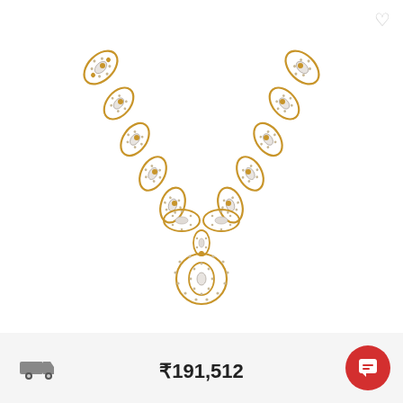[Figure (photo): Gold and diamond necklace with leaf/petal motifs along the chain and a teardrop pendant with concentric circular diamond-studded frame, displayed on white background.]
₹191,512